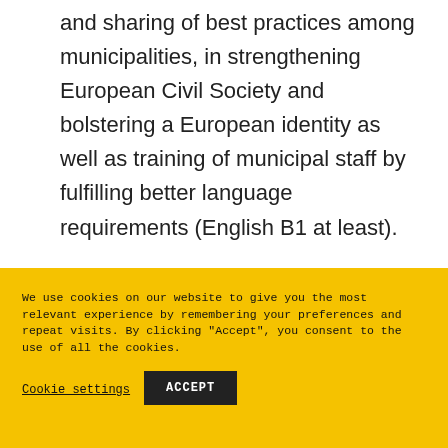and sharing of best practices among municipalities, in strengthening European Civil Society and bolstering a European identity as well as training of municipal staff by fulfilling better language requirements (English B1 at least).
We use cookies on our website to give you the most relevant experience by remembering your preferences and repeat visits. By clicking "Accept", you consent to the use of all the cookies.
Cookie settings
ACCEPT